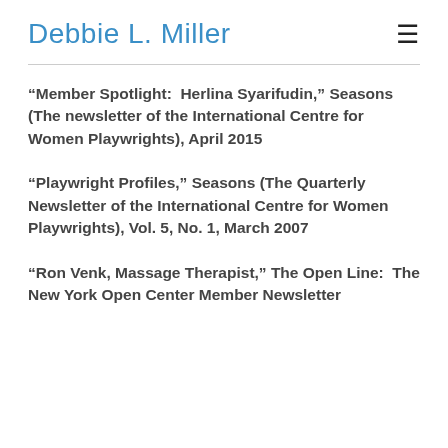Debbie L. Miller
“Member Spotlight:  Herlina Syarifudin,” Seasons (The newsletter of the International Centre for Women Playwrights), April 2015
“Playwright Profiles,” Seasons (The Quarterly Newsletter of the International Centre for Women Playwrights), Vol. 5, No. 1, March 2007
“Ron Venk, Massage Therapist,” The Open Line:  The New York Open Center Member Newsletter